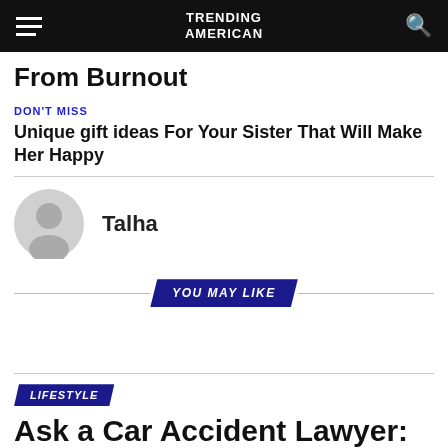TRENDING AMERICAN
From Burnout
DON'T MISS
Unique gift ideas For Your Sister That Will Make Her Happy
Talha
YOU MAY LIKE
LIFESTYLE
Ask a Car Accident Lawyer: How